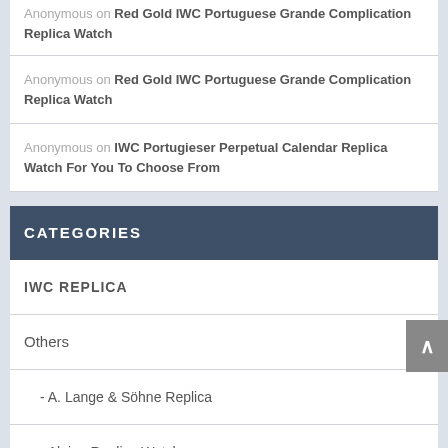Anonymous on Red Gold IWC Portuguese Grande Complication Replica Watch
Anonymous on Red Gold IWC Portuguese Grande Complication Replica Watch
Anonymous on IWC Portugieser Perpetual Calendar Replica Watch For You To Choose From
CATEGORIES
IWC REPLICA
Others
- A. Lange & Söhne Replica
- Alpina Replica Watches